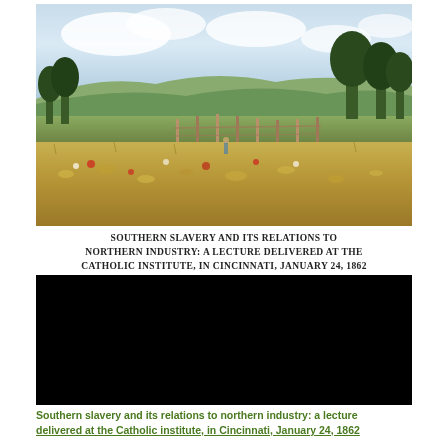[Figure (illustration): Impressionist-style landscape painting showing rolling green hills, wildflowers in foreground, trees, fence posts, and cloudy sky]
SOUTHERN SLAVERY AND ITS RELATIONS TO NORTHERN INDUSTRY: A LECTURE DELIVERED AT THE CATHOLIC INSTITUTE, IN CINCINNATI, JANUARY 24, 1862
[Figure (illustration): Black banner with author name 'Henry Reed' in white cursive script and 'LEOPOLD CLASSIC LIBRARY' in gold text]
Southern slavery and its relations to northern industry: a lecture delivered at the Catholic institute, in Cincinnati, January 24, 1862